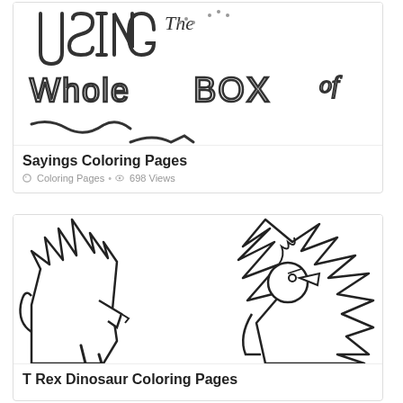[Figure (illustration): Coloring page illustration showing decorative hand-lettered text 'USING The Whole BOX of' in bubble/doodle style letters on white background]
Sayings Coloring Pages
🏷 Coloring Pages • 👁 698 Views
[Figure (illustration): Coloring page illustration of a T-Rex dinosaur facing a bird/chicken in outline/line-art style on white background]
T Rex Dinosaur Coloring Pages